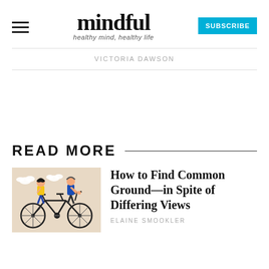mindful — healthy mind, healthy life — SUBSCRIBE
VICTORIA DAWSON
READ MORE
[Figure (illustration): Two people riding a tandem bicycle, with clouds in the background, on a beige/tan background]
How to Find Common Ground—in Spite of Differing Views
ELAINE SMOOKLER